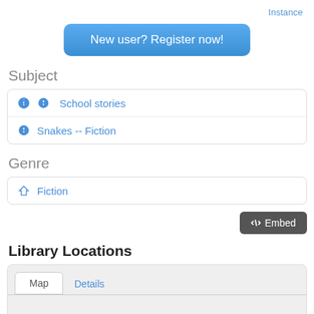Instance
New user? Register now!
Subject
School stories
Snakes -- Fiction
Genre
Fiction
</> Embed
Library Locations
Map  Details